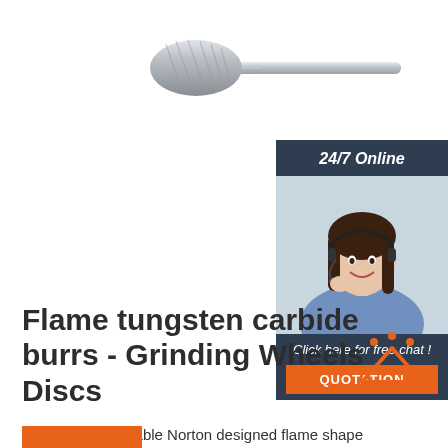[Figure (photo): Flame tungsten carbide burr tool — elongated cylindrical cutting head with spiral flutes and a long shank, silver/grey metallic finish]
[Figure (infographic): 24/7 Online customer support banner with photo of smiling woman with headset and 'Click here for free chat!' text and orange QUOTATION button]
Flame tungsten carbide burrs - Grinding Wheels Discs
On-line and available Norton designed flame shape carbide burrs. Tungsten carbide head with skip flute design. Wide variety of cuts and shapes available.
[Figure (logo): TOP icon — orange triangle with dots above it and orange text 'TOP' below]
[Figure (other): Orange button/bar at bottom left, partially visible]